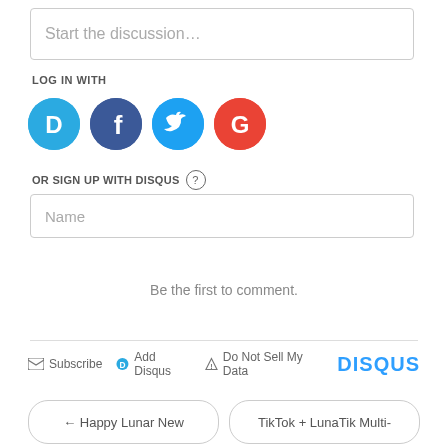Start the discussion…
LOG IN WITH
[Figure (other): Social login icons: Disqus (blue circle with D), Facebook (dark blue circle with f), Twitter (light blue circle with bird), Google (red circle with G)]
OR SIGN UP WITH DISQUS ?
Name
Be the first to comment.
Subscribe  Add Disqus  Do Not Sell My Data   DISQUS
← Happy Lunar New
TikTok + LunaTik Multi-